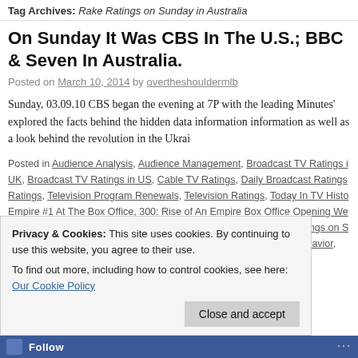Tag Archives: Rake Ratings on Sunday in Australia
On Sunday It Was CBS In The U.S.; BBC & Seven In Australia.
Posted on March 10, 2014 by overtheshouldermlb
Sunday, 03.09.10 CBS began the evening at 7P with the leading... Minutes' explored the facts behind the hidden data information... information as well as a look behind the revolution in the Ukrai...
Posted in Audience Analysis, Audience Management, Broadcast TV Ratings in UK, Broadcast TV Ratings in US, Cable TV Ratings, Daily Broadcast Ratings, Television Program Renewals, Television Ratings, Today In TV History... Empire #1 At The Box Office, 300: Rise of An Empire Box Office Opening... Australia on Sunday, 60 Minutes Ratings on Sunday, ABC, ABC Ratings on Sunday, ABC1 Ratings on Sunday, Audience Analysis, Audience Behavior...
Privacy & Cookies: This site uses cookies. By continuing to use this website, you agree to their use. To find out more, including how to control cookies, see here: Our Cookie Policy
Close and accept